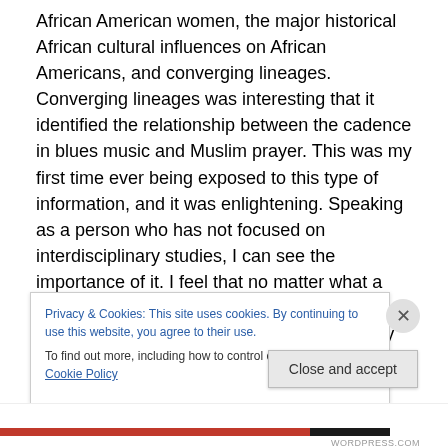African American women, the major historical African cultural influences on African Americans, and converging lineages. Converging lineages was interesting that it identified the relationship between the cadence in blues music and Muslim prayer. This was my first time ever being exposed to this type of information, and it was enlightening. Speaking as a person who has not focused on interdisciplinary studies, I can see the importance of it. I feel that no matter what a person's academic concentration is, he or she should practice some type of interdisciplinary study. It is practical because everyone
Privacy & Cookies: This site uses cookies. By continuing to use this website, you agree to their use.
To find out more, including how to control cookies, see here: Cookie Policy
Close and accept